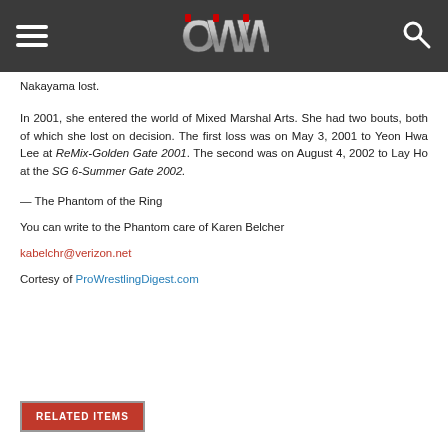OWW (logo) navigation header
Nakayama lost.
In 2001, she entered the world of Mixed Marshal Arts. She had two bouts, both of which she lost on decision. The first loss was on May 3, 2001 to Yeon Hwa Lee at ReMix-Golden Gate 2001. The second was on August 4, 2002 to Lay Ho at the SG 6-Summer Gate 2002.
— The Phantom of the Ring
You can write to the Phantom care of Karen Belcher
kabelchr@verizon.net
Cortesy of ProWrestlingDigest.com
RELATED ITEMS